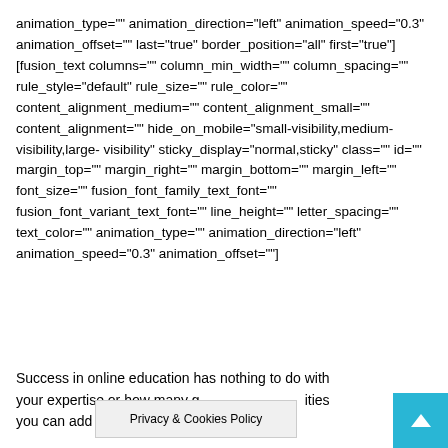animation_type="" animation_direction="left" animation_speed="0.3" animation_offset="" last="true" border_position="all" first="true"][fusion_text columns="" column_min_width="" column_spacing="" rule_style="default" rule_size="" rule_color="" content_alignment_medium="" content_alignment_small="" content_alignment="" hide_on_mobile="small-visibility,medium-visibility,large-visibility" sticky_display="normal,sticky" class="" id="" margin_top="" margin_right="" margin_bottom="" margin_left="" font_size="" fusion_font_family_text_font="" fusion_font_variant_text_font="" line_height="" letter_spacing="" text_color="" animation_type="" animation_direction="left" animation_speed="0.3" animation_offset=""]
Success in online education has nothing to do with your expertise or how many gr... ities you can add to a course. (1)